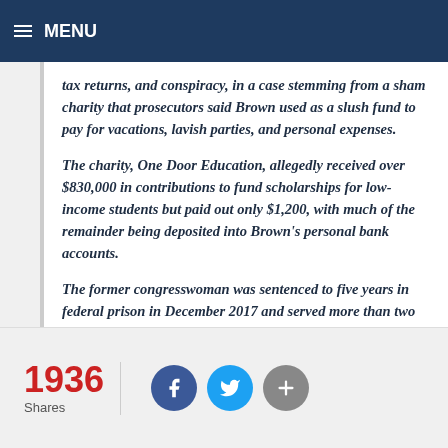MENU
tax returns, and conspiracy, in a case stemming from a sham charity that prosecutors said Brown used as a slush fund to pay for vacations, lavish parties, and personal expenses.
The charity, One Door Education, allegedly received over $830,000 in contributions to fund scholarships for low-income students but paid out only $1,200, with much of the remainder being deposited into Brown's personal bank accounts.
The former congresswoman was sentenced to five years in federal prison in December 2017 and served more than two years of her sentence before being released early in April 2020 due to COVID-19 concerns.
1936 Shares